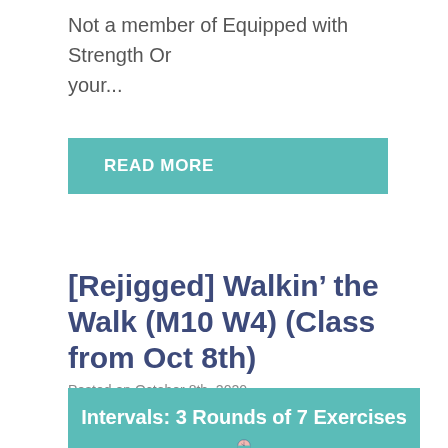Not a member of Equipped with Strength Or your...
READ MORE
[Rejigged] Walkin’ the Walk (M10 W4) (Class from Oct 8th)
Posted on October 8th, 2020
[Figure (infographic): Teal banner with text 'Intervals: 3 Rounds of 7 Exercises' and a clock icon below]